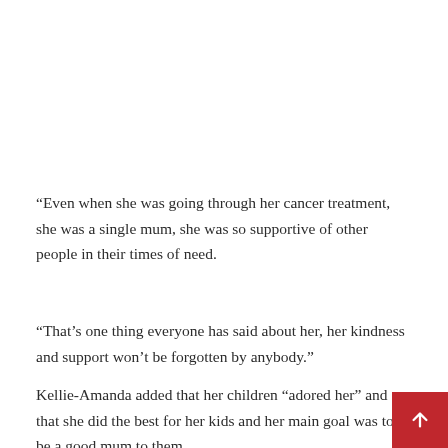“Even when she was going through her cancer treatment, she was a single mum, she was so supportive of other people in their times of need.
“That’s one thing everyone has said about her, her kindness and support won’t be forgotten by anybody.”
Kellie-Amanda added that her children “adored her” and that she did the best for her kids and her main goal was to be a good mum to them.